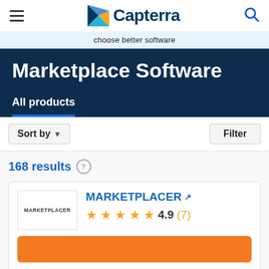[Figure (screenshot): Capterra website header with hamburger menu, Capterra logo with orange/blue arrow icon, and blue search icon]
choose better software
Marketplace Software
All products
Sort by  ▾
Filter
168 results
MARKETPLACER  4.9 (7)